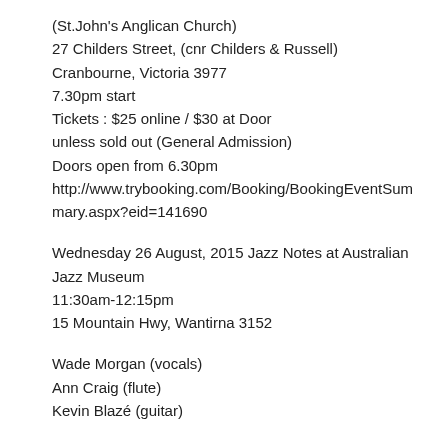(St.John's Anglican Church)
27 Childers Street, (cnr Childers & Russell)
Cranbourne, Victoria 3977
7.30pm start
Tickets : $25 online / $30 at Door
unless sold out (General Admission)
Doors open from 6.30pm
http://www.trybooking.com/Booking/BookingEventSummary.aspx?eid=141690
Wednesday 26 August, 2015 Jazz Notes at Australian Jazz Museum
11:30am-12:15pm
15 Mountain Hwy, Wantirna 3152
Wade Morgan (vocals)
Ann Craig (flute)
Kevin Blazé (guitar)